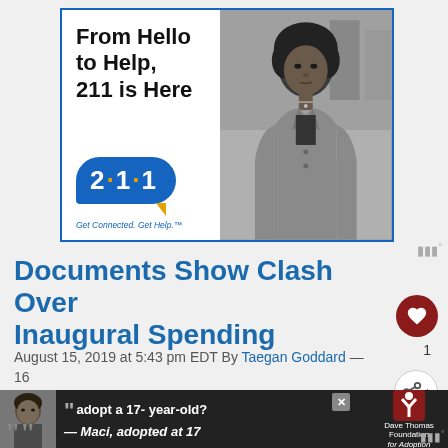[Figure (infographic): Advertisement banner: 'From Hello to Help, 211 is Here' with a 2·1·1 chat bubble logo and 'Get Connected. Get Help.' tagline, beside a black-and-white photo of a young woman.]
Documents Show Clash Over Inaugural Spending
August 15, 2019 at 5:43 pm EDT By Taegan Goddard — 16 Comments
“The former adviser to first lady Melania Trump, who has c…
[Figure (infographic): Bottom advertisement banner: Photo of a young woman with quote 'adopt a 17-year-old? — Maci, adopted at 17' and Dave Thomas Foundation for Adoption logo.]